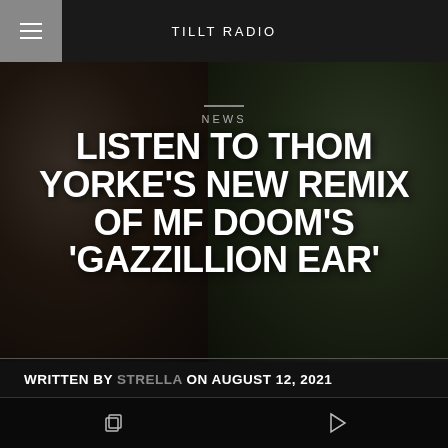TILLT RADIO
[Figure (photo): Two-panel photo: left shows Thom Yorke (man with long hair in black shirt), right shows MF DOOM (man in metal mask and blue Knicks jersey holding microphone). Dark overlays applied.]
NEWS
LISTEN TO THOM YORKE'S NEW REMIX OF MF DOOM'S 'GAZZILLION EAR'
WRITTEN BY STRELLA ON AUGUST 12, 2021